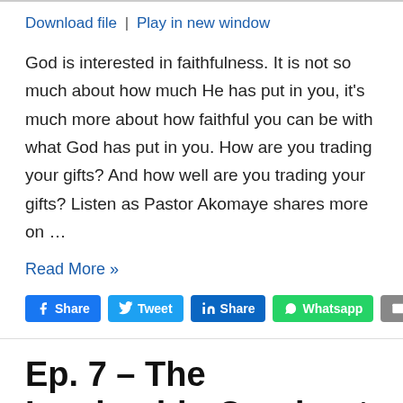Download file | Play in new window
God is interested in faithfulness. It is not so much about how much He has put in you, it's much more about how faithful you can be with what God has put in you. How are you trading your gifts? And how well are you trading your gifts? Listen as Pastor Akomaye shares more on …
Read More »
[Figure (infographic): Social share buttons: Facebook Share, Twitter Tweet, LinkedIn Share, Whatsapp, Email]
Ep. 7 – The Leadership Quadrant